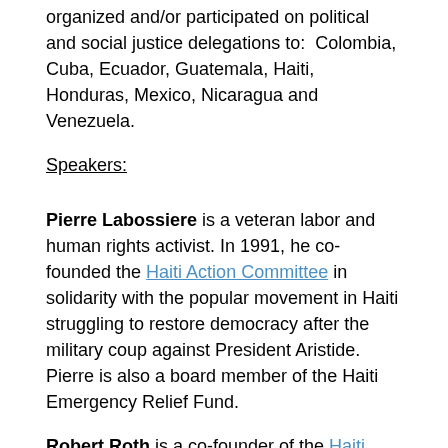organized and/or participated on political and social justice delegations to:  Colombia, Cuba, Ecuador, Guatemala, Haiti, Honduras, Mexico, Nicaragua and Venezuela.
Speakers:
Pierre Labossiere is a veteran labor and human rights activist. In 1991, he co-founded the Haiti Action Committee in solidarity with the popular movement in Haiti struggling to restore democracy after the military coup against President Aristide. Pierre is also a board member of the Haiti Emergency Relief Fund.
Robert Roth is a co-founder of the Haiti Action Committee.  Robert was a high school history teacher in San Francisco for 30 years and is now an instructional coach for new teachers. A lifelong activist, he was part of